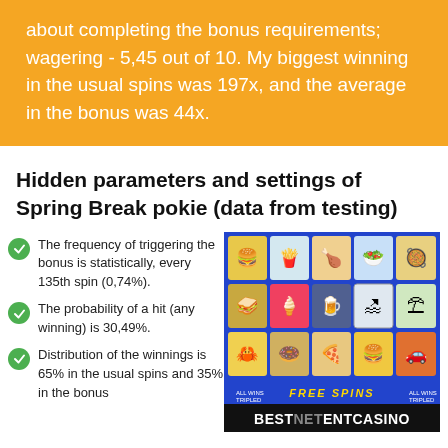about completing the bonus requirements; wagering - 5,45 out of 10. My biggest winning in the usual spins was 197x, and the average in the bonus was 44x.
Hidden parameters and settings of Spring Break pokie (data from testing)
[Figure (screenshot): Screenshot of Spring Break slot game showing a grid of food/beach symbols with FREE SPINS banner, and BESTNETCASINO logo at bottom]
The frequency of triggering the bonus is statistically, every 135th spin (0,74%).
The probability of a hit (any winning) is 30,49%.
Distribution of the winnings is 65% in the usual spins and 35% in the bonus